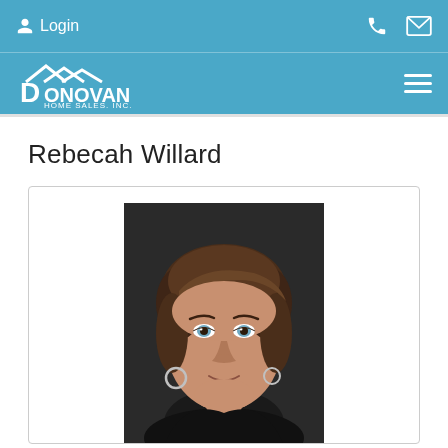Login | Phone | Email | Donovan Home Sales, Inc. | Menu
Rebecah Willard
[Figure (photo): Headshot portrait of Rebecah Willard, a woman with short brown hair and blue eyes, wearing hoop earrings and a dark top, against a dark background.]